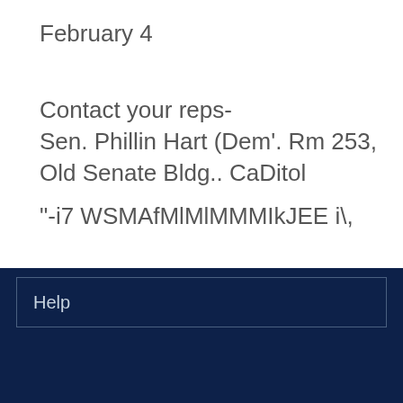February 4
Contact your reps-
Sen. Phillin Hart (Dem'. Rm 253, Old Senate Bldg.. CaDitol
"-i7 WSMAfMlMlMMMIkJEE i\,
Help
Home
© 2022 Regents of the University of
Back to Top